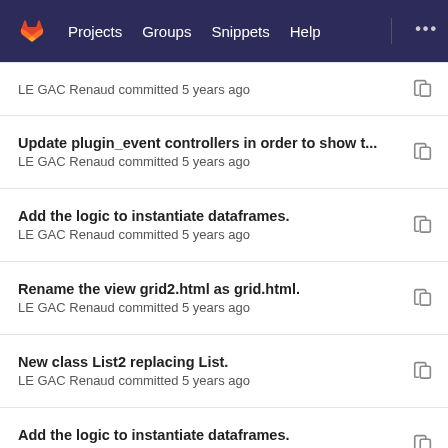Projects  Groups  Snippets  Help
LE GAC Renaud committed 5 years ago
Update plugin_event controllers in order to show t...
LE GAC Renaud committed 5 years ago
Add the logic to instantiate dataframes.
LE GAC Renaud committed 5 years ago
Rename the view grid2.html as grid.html.
LE GAC Renaud committed 5 years ago
New class List2 replacing List.
LE GAC Renaud committed 5 years ago
Add the logic to instantiate dataframes.
LE GAC Renaud committed 5 years ago
Update new report by adding list and metric2d con...
LE GAC Renaud committed 5 years ago
Update controllers and views to export graph as p...
LE GAC Renaud committed 5 years ago